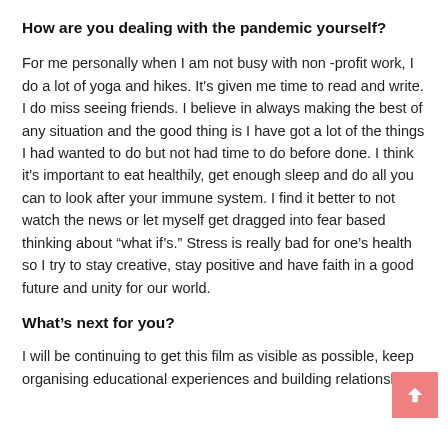How are you dealing with the pandemic yourself?
For me personally when I am not busy with non -profit work, I do a lot of yoga and hikes. It's given me time to read and write. I do miss seeing friends. I believe in always making the best of any situation and the good thing is I have got a lot of the things I had wanted to do but not had time to do before done. I think it's important to eat healthily, get enough sleep and do all you can to look after your immune system. I find it better to not watch the news or let myself get dragged into fear based thinking about “what if's.” Stress is really bad for one's health so I try to stay creative, stay positive and have faith in a good future and unity for our world.
What’s next for you?
I will be continuing to get this film as visible as possible, keep organising educational experiences and building relationships